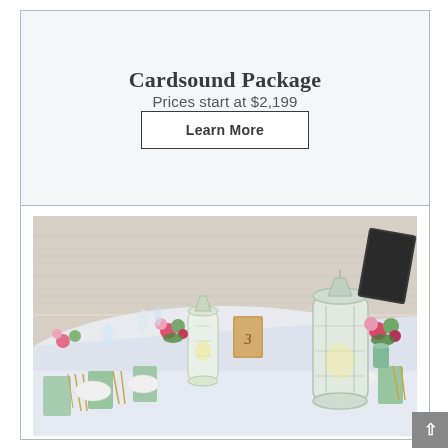Cardsound Package
Prices start at $2,199
Learn More
[Figure (photo): Wedding reception long table with white tablecloth, mint green napkins, floral centerpieces with pink and green flowers, glass lantern centerpieces, and golden cutlery. Rustic outdoor setting.]